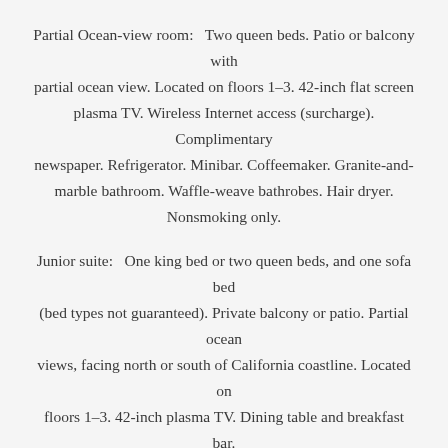Partial Ocean-view room:   Two queen beds. Patio or balcony with partial ocean view. Located on floors 1–3. 42-inch flat screen plasma TV. Wireless Internet access (surcharge). Complimentary newspaper. Refrigerator. Minibar. Coffeemaker. Granite-and-marble bathroom. Waffle-weave bathrobes. Hair dryer. Nonsmoking only.
Junior suite:   One king bed or two queen beds, and one sofa bed (bed types not guaranteed). Private balcony or patio. Partial ocean views, facing north or south of California coastline. Located on floors 1–3. 42-inch plasma TV. Dining table and breakfast bar.
Driving Directions:
From San Diego International Airport:
Approximate distance to the hotel is 8.5 miles